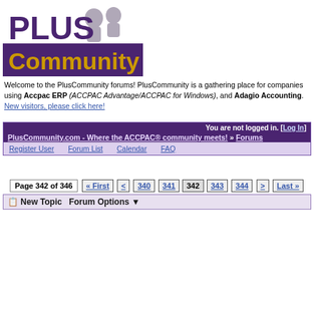[Figure (logo): PLUS Community logo with purple PLUS text and gold Community text on purple background with silhouette figures]
Welcome to the PlusCommunity forums! PlusCommunity is a gathering place for companies using Accpac ERP (ACCPAC Advantage/ACCPAC for Windows), and Adagio Accounting.
New visitors, please click here!
You are not logged in. [Log In]
PlusCommunity.com - Where the ACCPAC® community meets! » Forums
Register User   Forum List   Calendar   FAQ
Page 342 of 346 « First < 340 341 342 343 344 > Last »
New Topic  Forum Options
|  | Subject / Poster |  | Replies | Views | Posted |
| --- | --- | --- | --- | --- | --- |
|  | OE Sales History
by Marty Evans |  | 8 | 16256 | 08/11/00 01:58 PM
by 12513 |
|  | ACCPAC Purchase Order
by **DONOTDELETE** |  | 5 | 13493 | 08/11/00 01:57 PM
by 12487 |
|  | OEGLOB.DAT
by Sharon Rigden |  | 3 | 11637 | 08/11/00 01:46 PM
by 12528 |
|  | AR Bal Fwd gone awry; Cash import causes probs
by Leslie Schomaker |  | 1 | 8788 | 08/11/00 11:45 AM
by 12551 |